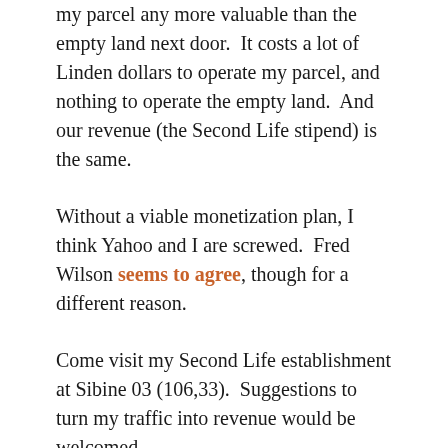my parcel any more valuable than the empty land next door.  It costs a lot of Linden dollars to operate my parcel, and nothing to operate the empty land.  And our revenue (the Second Life stipend) is the same.
Without a viable monetization plan, I think Yahoo and I are screwed.  Fred Wilson seems to agree, though for a different reason.
Come visit my Second Life establishment at Sibine 03 (106,33).  Suggestions to turn my traffic into revenue would be welcomed.
Maybe Yahoo will buy me before Microsoft buys Yahoo.
Technorati tags: yahoo, second life